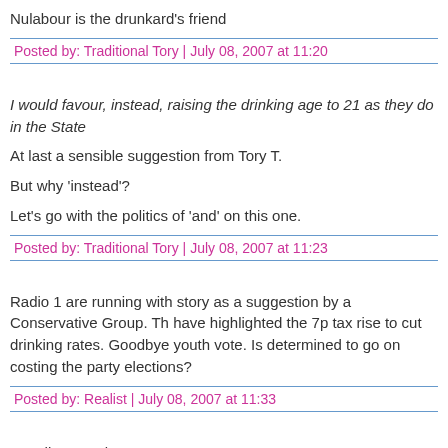Nulabour is the drunkard's friend
Posted by: Traditional Tory | July 08, 2007 at 11:20
I would favour, instead, raising the drinking age to 21 as they do in the State...
At last a sensible suggestion from Tory T.
But why 'instead'?
Let's go with the politics of 'and' on this one.
Posted by: Traditional Tory | July 08, 2007 at 11:23
Radio 1 are running with story as a suggestion by a Conservative Group. Th... have highlighted the 7p tax rise to cut drinking rates. Goodbye youth vote. Is... determined to go on costing the party elections?
Posted by: Realist | July 08, 2007 at 11:33
Goodbye youth vote.
What youth vote? Most of them don't bother to vote at all. Those that do sup...